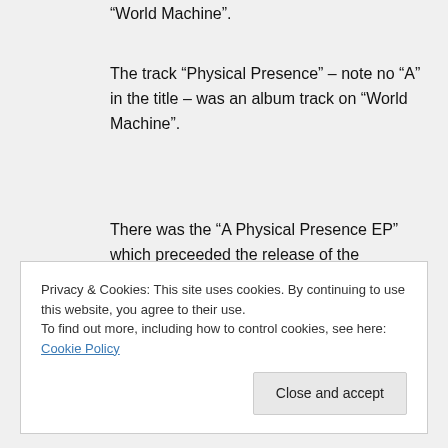“World Machine”.
The track “Physical Presence” – note no “A” in the title – was an album track on “World Machine”.
There was the “A Physical Presence EP” which preceeded the release of the corresponding live album but neither this nor the album contained “Physical Presence” the song.
Privacy & Cookies: This site uses cookies. By continuing to use this website, you agree to their use.
To find out more, including how to control cookies, see here: Cookie Policy